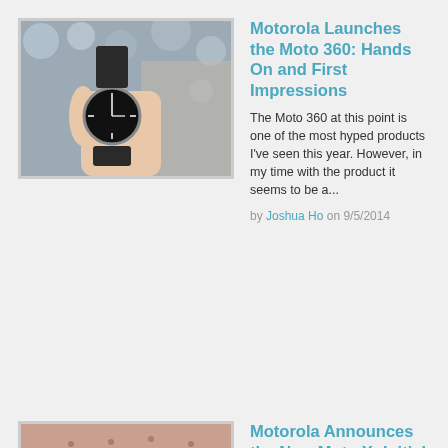[Figure (photo): Hand holding a Moto 360 smartwatch with a black face and band, in a store/event setting]
Motorola Launches the Moto 360: Hands On and First Impressions
The Moto 360 at this point is one of the most hyped products I've seen this year. However, in my time with the product it seems to be a...
by Joshua Ho on 9/5/2014
[Figure (photo): Circular pattern with pink/magenta lights and dark triangular tree-like shapes on a pinkish-brown background]
Motorola Announces the New Moto X: Initial Impressions and Hands On